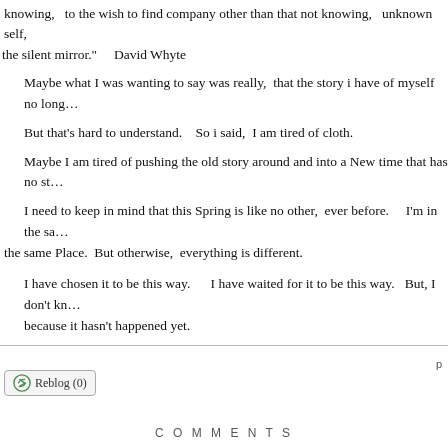knowing,   to the wish to find company other than that not knowing,   unknown self,  the silent mirror."     David Whyte
Maybe what I was wanting to say was really,  that the story i have of myself no long…
But that's hard to understand.    So i said,  I am tired of cloth.
Maybe I am tired of pushing the old story around and into a New time that has no st…
I need to keep in mind that this Spring is like no other,  ever before.     I'm in  the sa… the same Place.  But otherwise,  everything is different.
I have chosen it to be this way.      I have waited for it to be this way.   But, I don't kn… because it hasn't happened yet.
Reblog (0)   p
C O M M E N T S